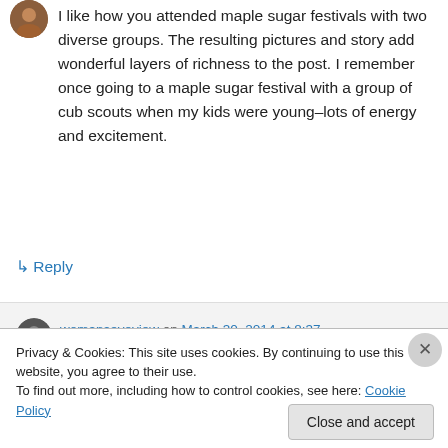[Figure (photo): Small circular avatar image of a person, partially visible at top left]
I like how you attended maple sugar festivals with two diverse groups. The resulting pictures and story add wonderful layers of richness to the post. I remember once going to a maple sugar festival with a group of cub scouts when my kids were young–lots of energy and excitement.
↳ Reply
[Figure (photo): Small circular avatar/profile image for womanseyeview commenter]
womanseyeview on March 30, 2014 at 8:37
Privacy & Cookies: This site uses cookies. By continuing to use this website, you agree to their use.
To find out more, including how to control cookies, see here: Cookie Policy
Close and accept